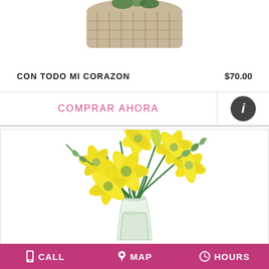[Figure (photo): Partial view of a floral arrangement in a basket, cropped at top]
CON TODO MI CORAZON   $70.00
COMPRAR AHORA
[Figure (photo): Yellow lily bouquet in a glass vase with green leaves]
CALL   MAP   HOURS